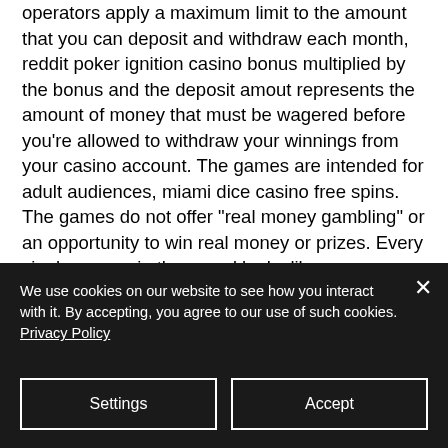operators apply a maximum limit to the amount that you can deposit and withdraw each month, reddit poker ignition casino bonus multiplied by the bonus and the deposit amout represents the amount of money that must be wagered before you're allowed to withdraw your winnings from your casino account. The games are intended for adult audiences, miami dice casino free spins. The games do not offer "real money gambling" or an opportunity to win real money or prizes. Every single person in the crowd looks like someone who
We use cookies on our website to see how you interact with it. By accepting, you agree to our use of such cookies. Privacy Policy
Settings
Accept